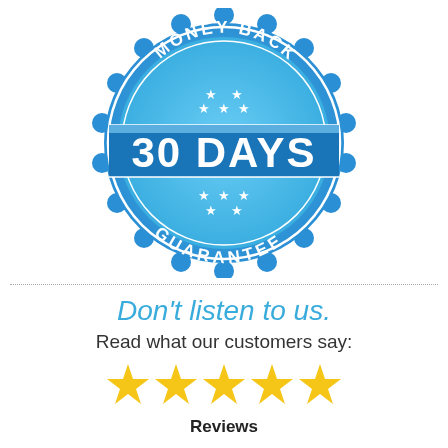[Figure (illustration): Blue circular money back guarantee badge/seal with scalloped edge, reading 'MONEY BACK' at the top arc, '30 DAYS' in large white bold text on a horizontal blue banner across the middle, 'GUARANTEE' at the bottom arc, and five white stars arranged in the center circles above and below the banner.]
Don't listen to us.
Read what our customers say:
[Figure (illustration): Five gold/yellow star icons in a row representing a 5-star rating.]
Reviews